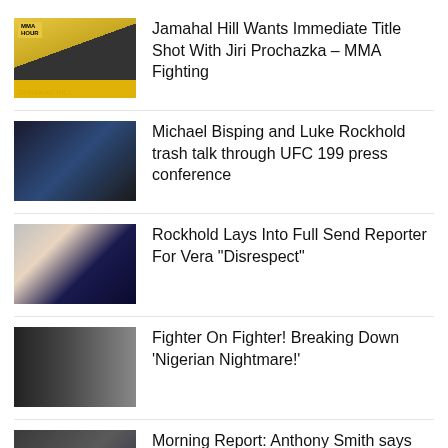Jamahal Hill Wants Immediate Title Shot With Jiri Prochazka – MMA Fighting
Michael Bisping and Luke Rockhold trash talk through UFC 199 press conference
Rockhold Lays Into Full Send Reporter For Vera "Disrespect"
Fighter On Fighter! Breaking Down 'Nigerian Nightmare!'
Morning Report: Anthony Smith says Luke Rockhold can beat Paulo Costa at UFC 278 if he 'decides to check his f****** ego for one